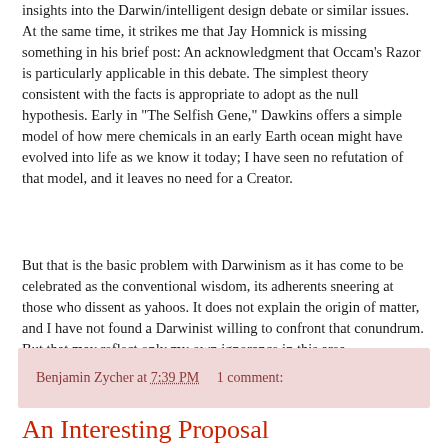insights into the Darwin/intelligent design debate or similar issues. At the same time, it strikes me that Jay Homnick is missing something in his brief post: An acknowledgment that Occam's Razor is particularly applicable in this debate. The simplest theory consistent with the facts is appropriate to adopt as the null hypothesis. Early in "The Selfish Gene," Dawkins offers a simple model of how mere chemicals in an early Earth ocean might have evolved into life as we know it today; I have seen no refutation of that model, and it leaves no need for a Creator.
But that is the basic problem with Darwinism as it has come to be celebrated as the conventional wisdom, its adherents sneering at those who dissent as yahoos. It does not explain the origin of matter, and I have not found a Darwinist willing to confront that conundrum. But that may reflect only my own ignorance in this area.
Benjamin Zycher at 7:39 PM     1 comment:
An Interesting Proposal